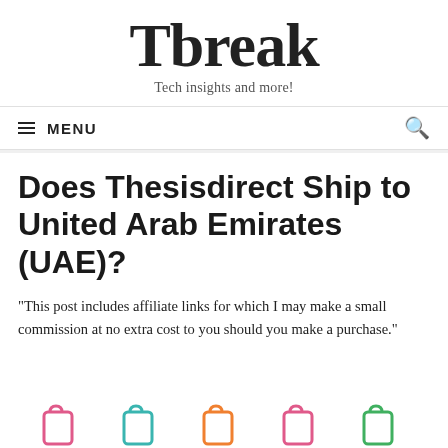Tbreak
Tech insights and more!
MENU
Does Thesisdirect Ship to United Arab Emirates (UAE)?
"This post includes affiliate links for which I may make a small commission at no extra cost to you should you make a purchase."
[Figure (illustration): Colorful shopping bag icons in pink, teal, orange, pink, and green at the bottom of the page]